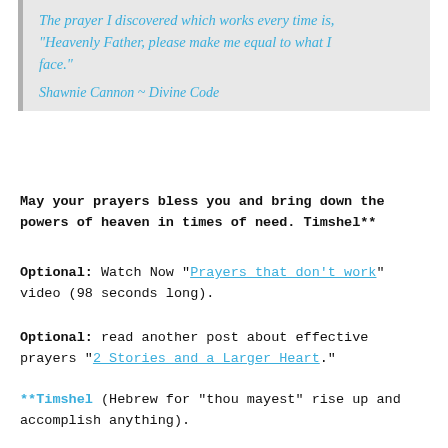The prayer I discovered which works every time is, “Heavenly Father, please make me equal to what I face.”
Shawnie Cannon ~ Divine Code
May your prayers bless you and bring down the powers of heaven in times of need. Timshel**
Optional: Watch Now “Prayers that don’t work” video (98 seconds long).
Optional: read another post about effective prayers “2 Stories and a Larger Heart.”
**Timshel (Hebrew for “thou mayest” rise up and accomplish anything).
Inspire the World
[Figure (infographic): Social sharing icons: Pinterest (red), Facebook (blue), Twitter (cyan), WhatsApp (green), Email (gray)]